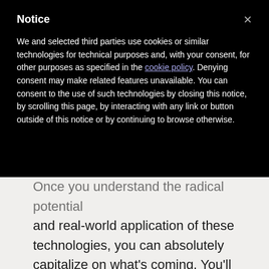Notice
We and selected third parties use cookies or similar technologies for technical purposes and, with your consent, for other purposes as specified in the cookie policy. Denying consent may make related features unavailable. You can consent to the use of such technologies by closing this notice, by scrolling this page, by interacting with any link or button outside of this notice or by continuing to browse otherwise.
Once you understand the radical potential and real-world application of these technologies, you can absolutely capitalize on what's coming. You'll have the rare opportunity to harness the power of what is literally the greatest economic revolution the world has ever seen—and use it to stabilize your future.